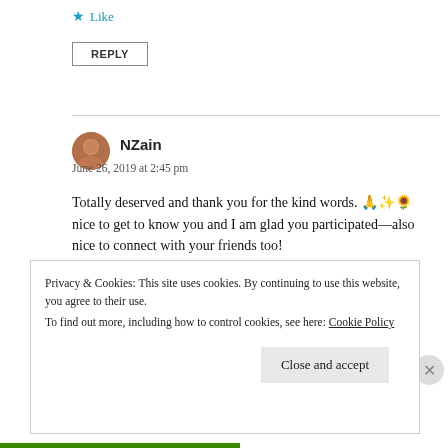★ Like
REPLY
NZain
June 26, 2019 at 2:45 pm
Totally deserved and thank you for the kind words. 🙏🎉🌻 nice to get to know you and I am glad you participated—also nice to connect with your friends too!
★ Like
Privacy & Cookies: This site uses cookies. By continuing to use this website, you agree to their use.
To find out more, including how to control cookies, see here: Cookie Policy
Close and accept